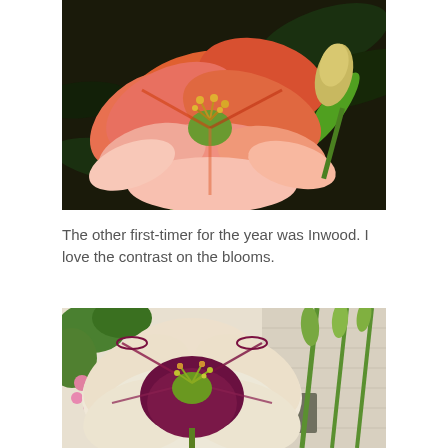[Figure (photo): Close-up photograph of an orange and pink daylily flower with ruffled petals, yellow stamens, and a green bud, set against dark green foliage background.]
The other first-timer for the year was Inwood. I love the contrast on the blooms.
[Figure (photo): Close-up photograph of a cream and deep purple daylily (Inwood variety) with ruffled petal edges, green stamens, and buds on stalks, with pink flowers and a house in the background.]